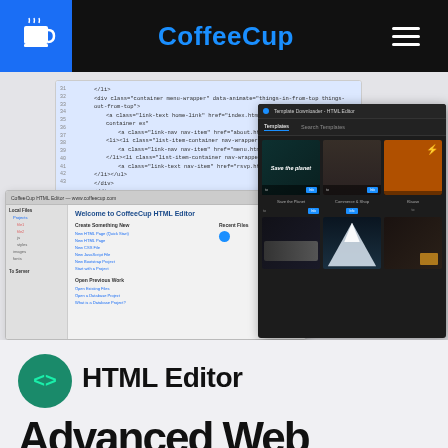CoffeeCup
[Figure (screenshot): Screenshots of CoffeeCup HTML Editor interface including code editor, HTML editor welcome screen, and template downloader panel with dark theme showing various website templates]
[Figure (logo): HTML Editor product icon - green circle with code angle brackets symbol]
HTML Editor
Advanced Web